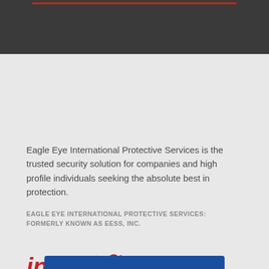Eagle Eye International Protective Services is the trusted security solution for companies and high profile individuals seeking the absolute best in protection.
EAGLE EYE INTERNATIONAL PROTECTIVE SERVICES: FORMERLY KNOWN AS EESS, INC.
[Figure (infographic): Social media icons: LinkedIn (in), Twitter bird icon, Google+ (G+) in red]